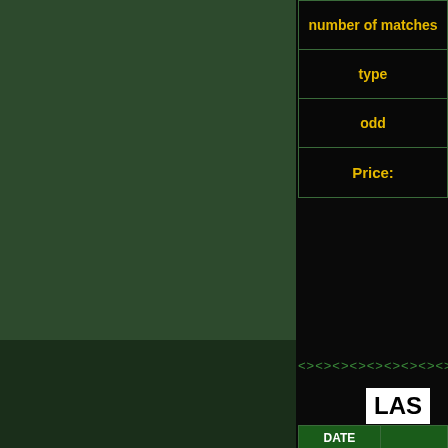| number of matches |
| --- |
| type |
| odd |
| Price: |
<><><><><><><><><><><><><><>
LAS
| DATE |  |
| --- | --- |
| 31.08.2022 |  |
| 30.08.2022 |  |
| 29.08.2022 |  |
| 28.08.2022 |  |
| 27.08.2022 | Lo |
| 26.08.2022 | W |
| 25.08.2022 |  |
| 24.08.2022 |  |